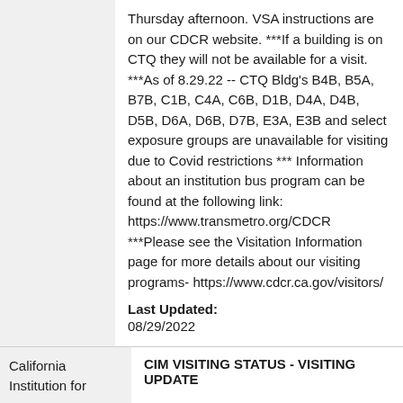Thursday afternoon. VSA instructions are on our CDCR website. ***If a building is on CTQ they will not be available for a visit. ***As of 8.29.22 -- CTQ Bldg's B4B, B5A, B7B, C1B, C4A, C6B, D1B, D4A, D4B, D5B, D6A, D6B, D7B, E3A, E3B and select exposure groups are unavailable for visiting due to Covid restrictions *** Information about an institution bus program can be found at the following link: https://www.transmetro.org/CDCR ***Please see the Visitation Information page for more details about our visiting programs- https://www.cdcr.ca.gov/visitors/
Last Updated: 08/29/2022
California Institution for
CIM VISITING STATUS - VISITING UPDATE